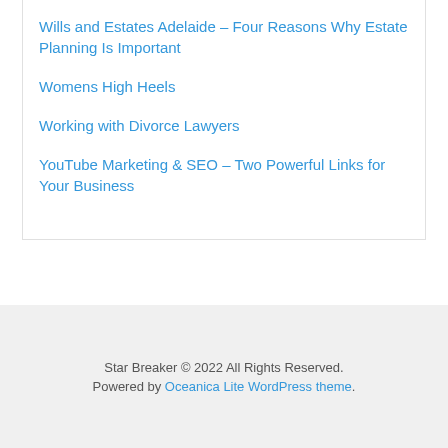Wills and Estates Adelaide – Four Reasons Why Estate Planning Is Important
Womens High Heels
Working with Divorce Lawyers
YouTube Marketing & SEO – Two Powerful Links for Your Business
Star Breaker © 2022 All Rights Reserved.
Powered by Oceanica Lite WordPress theme.